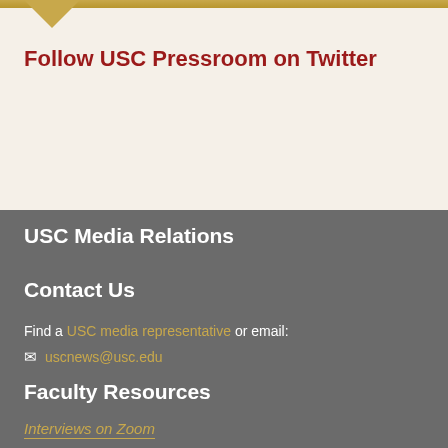Follow USC Pressroom on Twitter
USC Media Relations
Contact Us
Find a USC media representative or email:
✉ uscnews@usc.edu
Faculty Resources
Interviews on Zoom
Related Sites
USC News